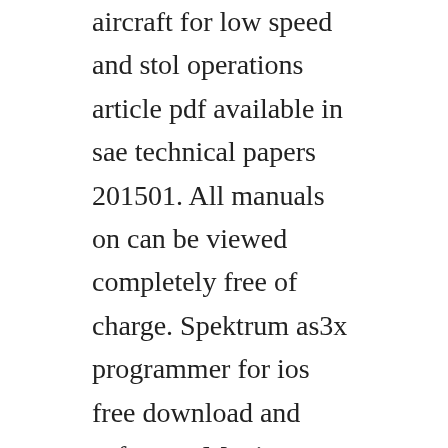aircraft for low speed and stol operations article pdf available in sae technical papers 201501. All manuals on can be viewed completely free of charge. Spektrum as3x programmer for ios free download and software. Moving spektrum as3x and safe receivers to a different plane. Currently such terminal products as 4g ltewimax indoor cpe, ltewimax outdoor cpe, lte wimax dual mode cpe, 2g3g4g multi mode cpe, 2g3g4g mifi router and. I woke up this morning at 2am after spending hours yesterday trying to get the as3x working on my yak54. Page